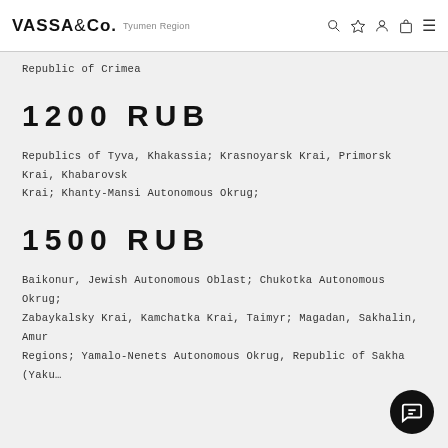VASSA&Co. Tyumen Region
Republic of Crimea
1200 RUB
Republics of Tyva, Khakassia; Krasnoyarsk Krai, Primorsk Krai, Khabarovsk Krai; Khanty-Mansi Autonomous Okrug;
1500 RUB
Baikonur, Jewish Autonomous Oblast; Chukotka Autonomous Okrug; Zabaykalsky Krai, Kamchatka Krai, Taimyr; Magadan, Sakhalin, Amur Regions; Yamalo-Nenets Autonomous Okrug, Republic of Sakha (Yaku...